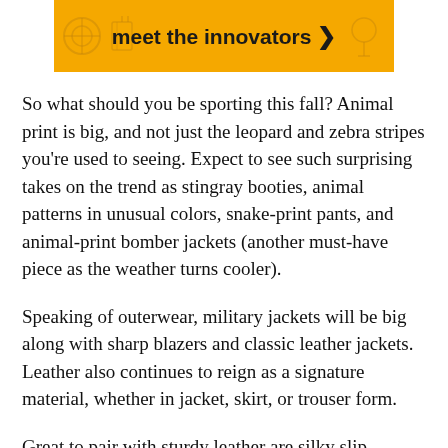[Figure (other): Yellow banner advertisement with icon graphics and text 'meet the innovators' with a right-pointing arrow]
So what should you be sporting this fall? Animal print is big, and not just the leopard and zebra stripes you're used to seeing. Expect to see such surprising takes on the trend as stingray booties, animal patterns in unusual colors, snake-print pants, and animal-print bomber jackets (another must-have piece as the weather turns cooler).
Speaking of outerwear, military jackets will be big along with sharp blazers and classic leather jackets. Leather also continues to reign as a signature material, whether in jacket, skirt, or trouser form.
Great to pair with sturdy leather are silky slip dresses or camisoles, as well as pieces with romantic ruffles, lace, and sweet detailing.